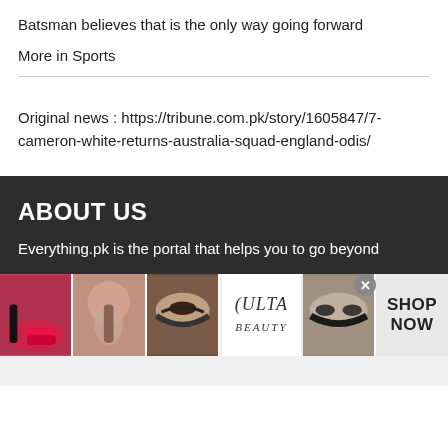Batsman believes that is the only way going forward
More in Sports
Original news : https://tribune.com.pk/story/1605847/7-cameron-white-returns-australia-squad-england-odis/
ABOUT US
Everything.pk is the portal that helps you to go beyond
[Figure (photo): Advertisement banner showing makeup/beauty images with Ulta Beauty logo and SHOP NOW text]